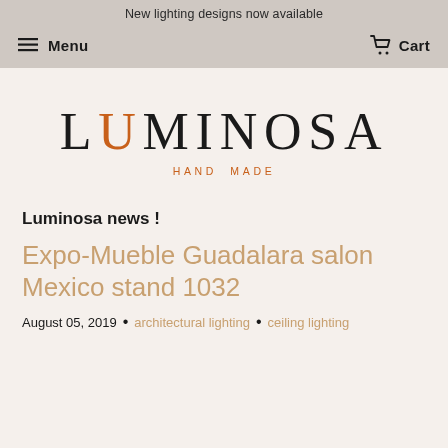New lighting designs now available
Menu  Cart
[Figure (logo): Luminosa Hand Made logo — large serif wordmark with orange U letter, subtitle HAND MADE in orange spaced caps]
Luminosa news !
Expo-Mueble Guadalara salon Mexico stand 1032
August 05, 2019  •  architectural lighting  •  ceiling lighting